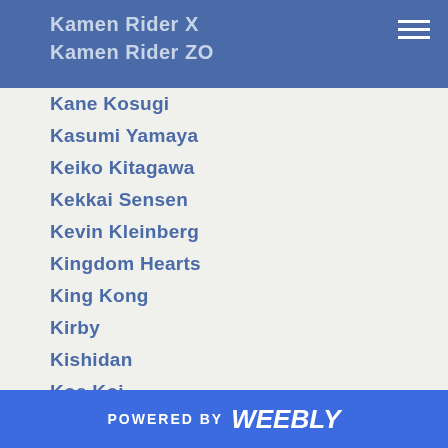Kamen Rider X
Kamen Rider ZO
Kane Kosugi
Kasumi Yamaya
Keiko Kitagawa
Kekkai Sensen
Kevin Kleinberg
Kingdom Hearts
King Kong
Kirby
Kishidan
Koe Koi
Koji Naka
Kotobukiya
Kouji Wada
Kuroko's Basketball
Kurosaki Kun No Iinari Ni Nante Naranai
Kurosaki-kun No Iinari Ni Nante Naranai
Kyoryuger
POWERED BY weebly